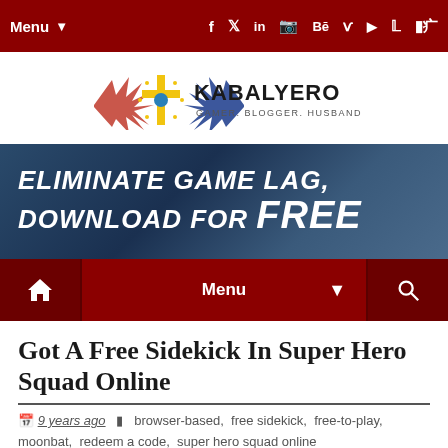Menu  f  t  in  ig  Be  V  yt  p  sl
[Figure (logo): Kabalyero logo with stylized eagle wings and cross emblem. Text: KABALYERO GAMER. BLOGGER. HUSBAND AND FATHER]
[Figure (infographic): Dark blue banner advertisement with text: ELIMINATE GAME LAG, DOWNLOAD FOR FREE]
Home  Menu  Search
Got A Free Sidekick In Super Hero Squad Online
9 years ago   browser-based,  free sidekick,  free-to-play,  moonbat,  redeem a code,  super hero squad online
I enjoyed playing Super Hero Squad Online. There was a time